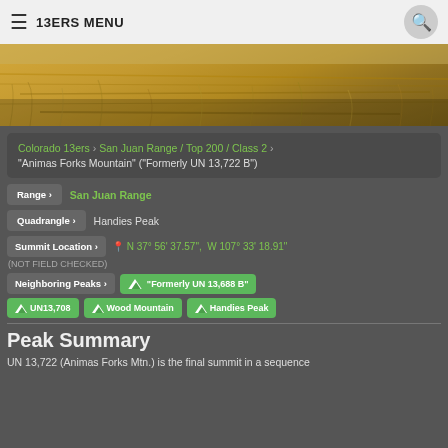13ERS MENU
[Figure (photo): Golden grass field / meadow landscape photo]
Colorado 13ers › San Juan Range / Top 200 / Class 2 › "Animas Forks Mountain" ("Formerly UN 13,722 B")
Range › San Juan Range
Quadrangle › Handies Peak
Summit Location › N 37° 56′ 37.57",  W 107° 33′ 18.91" (NOT FIELD CHECKED)
Neighboring Peaks › "Formerly UN 13,688 B" | UN13,708 | Wood Mountain | Handies Peak
Peak Summary
UN 13,722 (Animas Forks Mtn.) is the final summit in a sequence